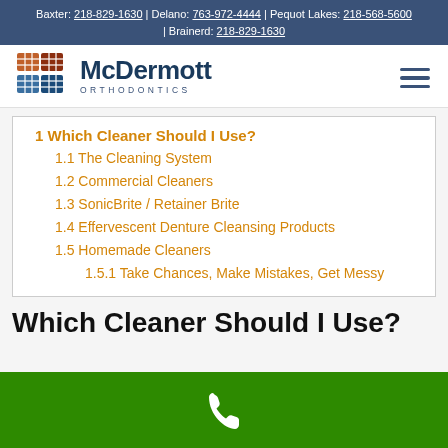Baxter: 218-829-1630 | Delano: 763-972-4444 | Pequot Lakes: 218-568-5600 | Brainerd: 218-829-1630
[Figure (logo): McDermott Orthodontics logo with colorful tile squares and dark blue wordmark]
1 Which Cleaner Should I Use?
1.1 The Cleaning System
1.2 Commercial Cleaners
1.3 SonicBrite / Retainer Brite
1.4 Effervescent Denture Cleansing Products
1.5 Homemade Cleaners
1.5.1 Take Chances, Make Mistakes, Get Messy
Which Cleaner Should I Use?
[Figure (illustration): Green footer bar with white phone handset icon]